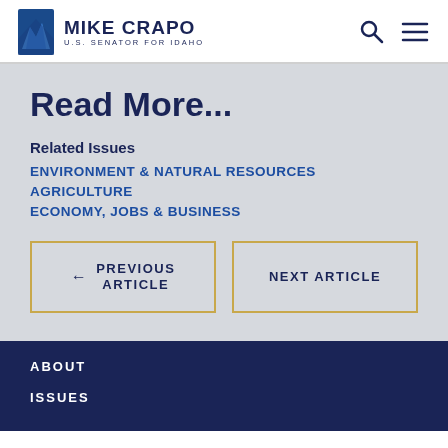MIKE CRAPO U.S. SENATOR FOR IDAHO
Read More...
Related Issues
ENVIRONMENT & NATURAL RESOURCES
AGRICULTURE
ECONOMY, JOBS & BUSINESS
← PREVIOUS ARTICLE
NEXT ARTICLE
ABOUT
ISSUES